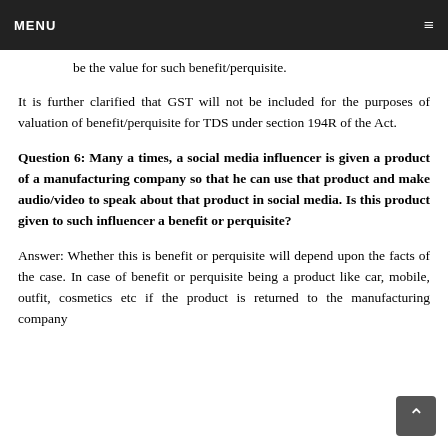MENU ≡
be the value for such benefit/perquisite.
It is further clarified that GST will not be included for the purposes of valuation of benefit/perquisite for TDS under section 194R of the Act.
Question 6: Many a times, a social media influencer is given a product of a manufacturing company so that he can use that product and make audio/video to speak about that product in social media. Is this product given to such influencer a benefit or perquisite?
Answer: Whether this is benefit or perquisite will depend upon the facts of the case. In case of benefit or perquisite being a product like car, mobile, outfit, cosmetics etc if the product is returned to the manufacturing company